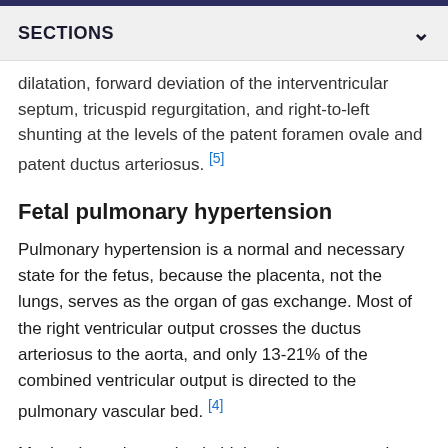SECTIONS
dilatation, forward deviation of the interventricular septum, tricuspid regurgitation, and right-to-left shunting at the levels of the patent foramen ovale and patent ductus arteriosus. [5]
Fetal pulmonary hypertension
Pulmonary hypertension is a normal and necessary state for the fetus, because the placenta, not the lungs, serves as the organ of gas exchange. Most of the right ventricular output crosses the ductus arteriosus to the aorta, and only 13-21% of the combined ventricular output is directed to the pulmonary vascular bed. [4]
Mechanisms that maintain high pulmonary vascular resistance (PVR) in utero include low fetal oxygen content, fluid-filled alveoli causing compression of the